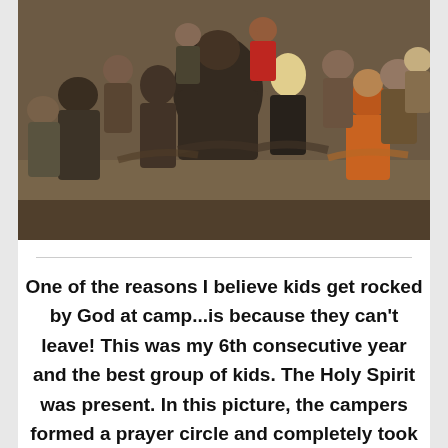[Figure (photo): A group of young people forming a prayer circle in what appears to be an indoor camp setting. They are gathered closely together with arms around each other. One person in an orange shirt is visible on the right side.]
One of the reasons I believe kids get rocked by God at camp...is because they can't leave! This was my 6th consecutive year and the best group of kids. The Holy Spirit was present. In this picture, the campers formed a prayer circle and completely took over the service. #BoomSauce